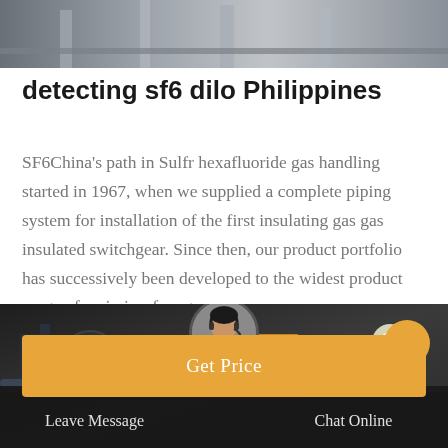[Figure (photo): Top portion of an industrial/factory scene with metal structures, gray tones]
detecting sf6 dilo Philippines
SF6China's path in Sulfr hexafluoride gas handling started in 1967, when we supplied a complete piping system for installation of the first insulating gas gas insulated switchgear. Since then, our product portfolio has successively been developed to the widest product range of emission-free gas
[Figure (screenshot): Orange 'Get Price' button]
[Figure (photo): Bottom section showing industrial machinery in a dark factory setting, with a customer service representative avatar, scroll-to-top button, and a dark chat bar with 'Leave Message' and 'Chat Online' options]